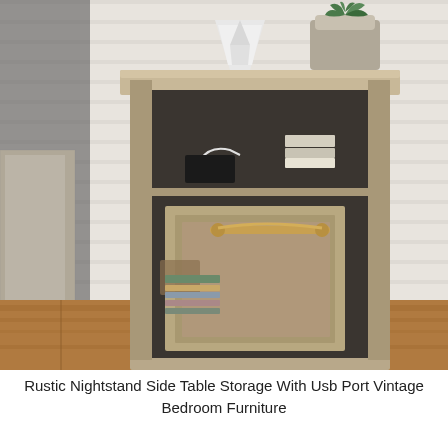[Figure (photo): A rustic farmhouse-style nightstand side table with weathered gray wood finish. The cabinet has an open cubby shelf at the top showing a phone charger and stacked books, a lower cabinet section with the door open revealing books and a basket, and a gold/brass bar handle. The nightstand sits on a wood floor against white shiplap wall paneling. A decorative white geometric vase and a green potted succulent sit on top. Part of a bed with dark headboard and patterned blanket is visible on the left.]
Rustic Nightstand Side Table Storage With Usb Port Vintage Bedroom Furniture